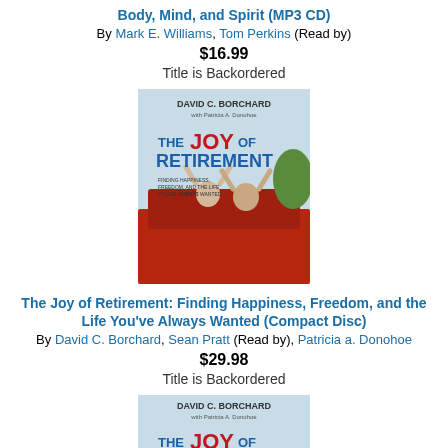Body, Mind, and Spirit (MP3 CD)
By Mark E. Williams, Tom Perkins (Read by)
$16.99
Title is Backordered
[Figure (photo): Book cover of The Joy of Retirement by David C. Borchard with Patricia A. Donohoe. Red and blue text on light blue background with photo of people in a convertible car.]
The Joy of Retirement: Finding Happiness, Freedom, and the Life You've Always Wanted (Compact Disc)
By David C. Borchard, Sean Pratt (Read by), Patricia a. Donohoe
$29.98
Title is Backordered
[Figure (photo): Book cover of The Joy of Retirement by David C. Borchard, partial view at bottom of page.]